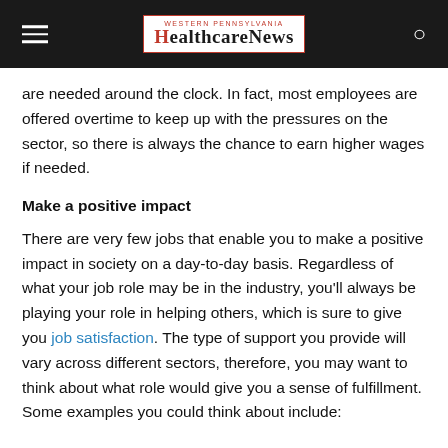Western Pennsylvania Healthcare News
are needed around the clock. In fact, most employees are offered overtime to keep up with the pressures on the sector, so there is always the chance to earn higher wages if needed.
Make a positive impact
There are very few jobs that enable you to make a positive impact in society on a day-to-day basis. Regardless of what your job role may be in the industry, you’ll always be playing your role in helping others, which is sure to give you job satisfaction. The type of support you provide will vary across different sectors, therefore, you may want to think about what role would give you a sense of fulfillment. Some examples you could think about include: